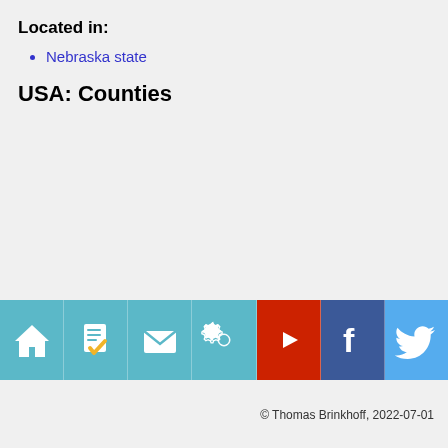Located in:
Nebraska state
USA: Counties
[Figure (infographic): Icon bar with 7 social/navigation icons: home, document check, mail, settings, YouTube play, Facebook, Twitter on teal/colored backgrounds]
© Thomas Brinkhoff, 2022-07-01